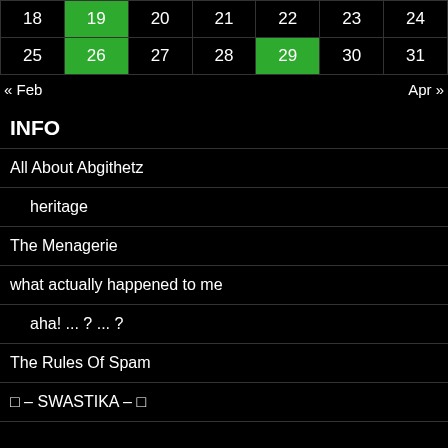|  |  |  |  |  |  |  |
| --- | --- | --- | --- | --- | --- | --- |
| 18 | 19 | 20 | 21 | 22 | 23 | 24 |
| 25 | 26 | 27 | 28 | 29 | 30 | 31 |
« Feb    Apr »
INFO
All About Abgithetz
heritage
The Menagerie
what actually happened to me
aha! ... ? ... ?
The Rules Of Spam
☐ – SWASTIKA – ☐